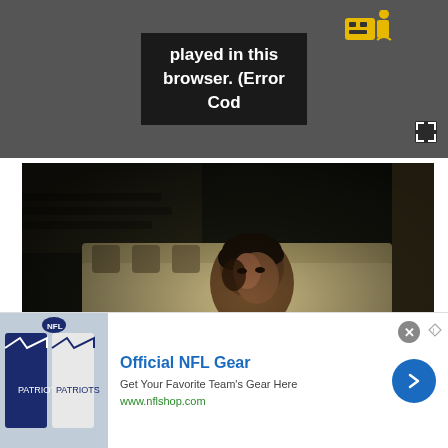[Figure (screenshot): Video player error screen showing dark gray background with black error box containing white text 'played in this browser. (Error Cod' and a yellow video/robot icon. Expand icon in bottom right.]
[Figure (photo): Movie still/scene showing a man with dark hair in dimly lit room, wearing a black jacket, looking upward. Dark cinematic lighting.]
(Image credit: 20th Century Fox)
[Figure (screenshot): Advertisement banner: Official NFL Gear - Get Your Favorite Team's Gear Here - www.nflshop.com. Shows NFL jerseys/shirts on left, blue arrow button on right. Close button top right.]